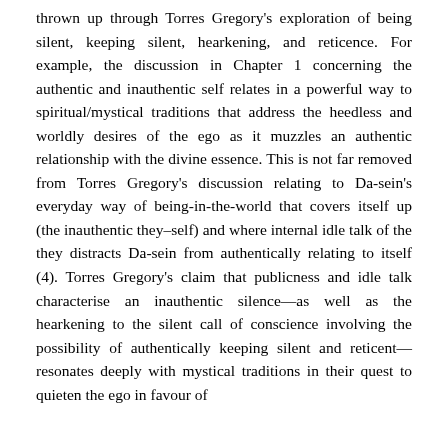thrown up through Torres Gregory's exploration of being silent, keeping silent, hearkening, and reticence. For example, the discussion in Chapter 1 concerning the authentic and inauthentic self relates in a powerful way to spiritual/mystical traditions that address the heedless and worldly desires of the ego as it muzzles an authentic relationship with the divine essence. This is not far removed from Torres Gregory's discussion relating to Da-sein's everyday way of being-in-the-world that covers itself up (the inauthentic they–self) and where internal idle talk of the they distracts Da-sein from authentically relating to itself (4). Torres Gregory's claim that publicness and idle talk characterise an inauthentic silence—as well as the hearkening to the silent call of conscience involving the possibility of authentically keeping silent and reticent—resonates deeply with mystical traditions in their quest to quieten the ego in favour of